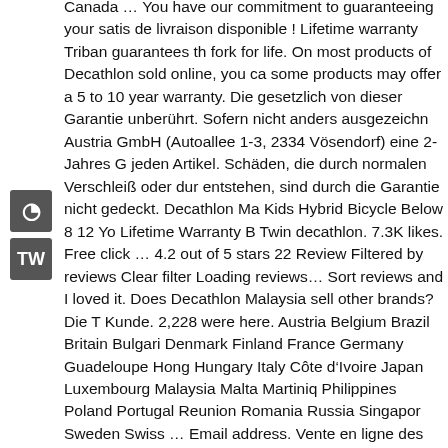Canada … You have our commitment to guaranteeing your satis de livraison disponible ! Lifetime warranty Triban guarantees th fork for life. On most products of Decathlon sold online, you ca some products may offer a 5 to 10 year warranty. Die gesetzlich von dieser Garantie unberührt. Sofern nicht anders ausgezeichn Austria GmbH (Autoallee 1-3, 2334 Vösendorf) eine 2-Jahres G jeden Artikel. Schäden, die durch normalen Verschleiß oder dur entstehen, sind durch die Garantie nicht gedeckt. Decathlon Ma Kids Hybrid Bicycle Below 8 12 Yo Lifetime Warranty B Twin decathlon. 7.3K likes. Free click … 4.2 out of 5 stars 22 Review Filtered by reviews Clear filter Loading reviews… Sort reviews and I loved it. Does Decathlon Malaysia sell other brands? Die T Kunde. 2,228 were here. Austria Belgium Brazil Britain Bulgari Denmark Finland France Germany Guadeloupe Hong Hungary Italy Côte d'Ivoire Japan Luxembourg Malaysia Malta Martiniq Philippines Poland Portugal Reunion Romania Russia Singapor Sweden Swiss … Email address. Vente en ligne des articles de s Algérie, échange et remboursement gratuits en magasin Zwar is des normalen Verschleißes wie andere Komponenten des Fahr